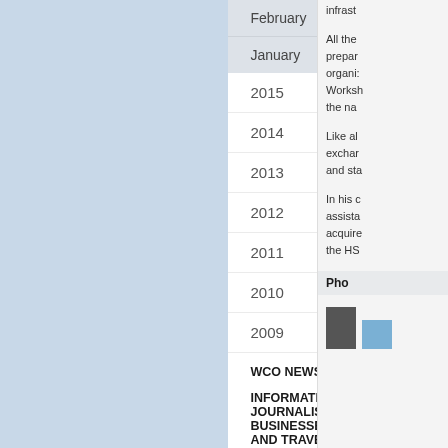February
January
2015
2014
2013
2012
2011
2010
2009
WCO NEWS MAGAZINE
INFORMATION FOR JOURNALISTS, BUSINESSES, INDIVIDUALS AND TRAVELLERS
infrast
All the prepar organi: Worksh the na
Like al excha and st
In his c assista acquire the HS
Pho